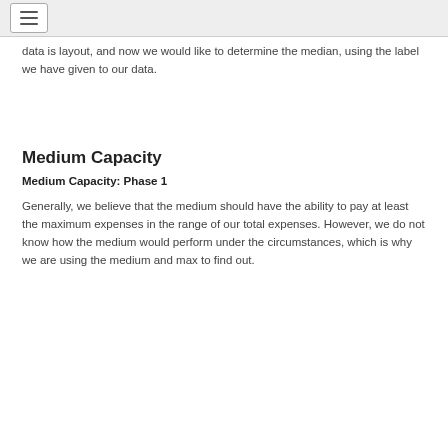☰
data is layout, and now we would like to determine the median, using the label we have given to our data.
Medium Capacity
Medium Capacity: Phase 1
Generally, we believe that the medium should have the ability to pay at least the maximum expenses in the range of our total expenses. However, we do not know how the medium would perform under the circumstances, which is why we are using the medium and max to find out.